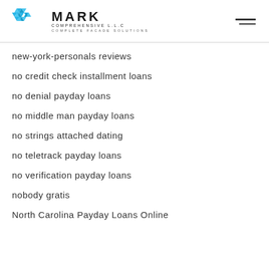MARK COMPREHENSIVE L.L.C — COMPLETE FACADE SOLUTIONS
new-york-personals reviews
no credit check installment loans
no denial payday loans
no middle man payday loans
no strings attached dating
no teletrack payday loans
no verification payday loans
nobody gratis
North Carolina Payday Loans Online